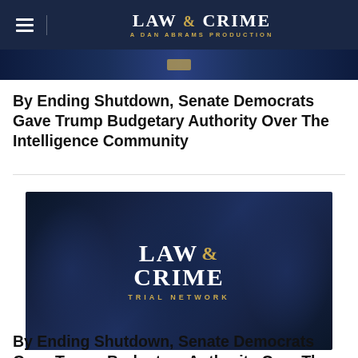LAW & CRIME — A DAN ABRAMS PRODUCTION
[Figure (screenshot): Partial image from a Law & Crime article, dark blue background]
By Ending Shutdown, Senate Democrats Gave Trump Budgetary Authority Over The Intelligence Community
[Figure (logo): Law & Crime Trial Network logo on dark blue background]
By Ending Shutdown, Senate Democrats Gave Trump Budgetary Authority Over The